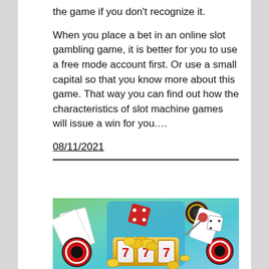the game if you don't recognize it.
When you place a bet in an online slot gambling game, it is better for you to use a free mode account first. Or use a small capital so that you know more about this game. That way you can find out how the characteristics of slot machine games will issue a win for you….
08/11/2021
[Figure (illustration): Casino-themed illustration showing slot machine reels with 777, playing cards with ace of spades, red dice, casino chips, and gold coins on a teal/green gradient background.]